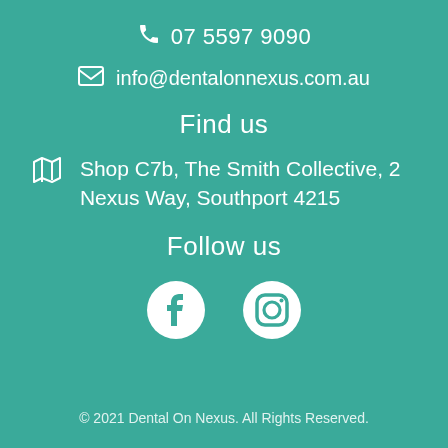07 5597 9090
info@dentalonnexus.com.au
Find us
Shop C7b, The Smith Collective, 2 Nexus Way, Southport 4215
Follow us
[Figure (logo): Facebook and Instagram social media icons in white on teal background]
© 2021 Dental On Nexus. All Rights Reserved.